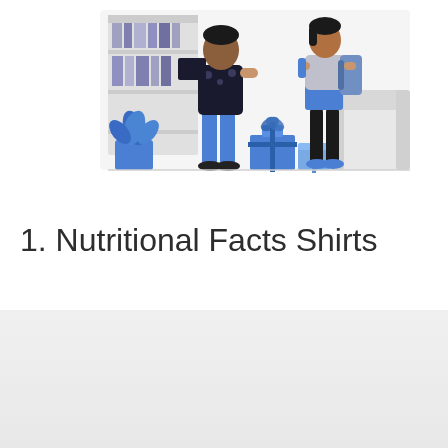[Figure (illustration): Flat style illustration of two adult figures and a child in a living room setting. One adult holds a wrapped gift box. A blue plant, gift boxes on the floor, a bookshelf, and a couch are visible in the background. Color palette is blue, white, and light grey.]
1. Nutritional Facts Shirts